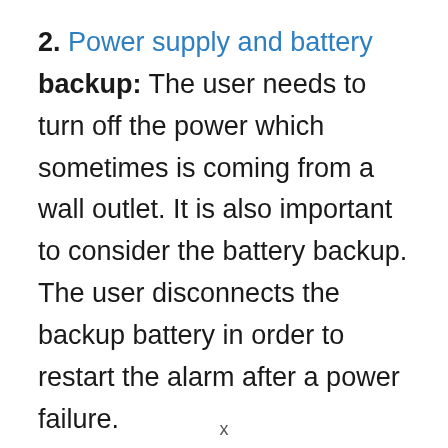2. Power supply and battery backup: The user needs to turn off the power which sometimes is coming from a wall outlet. It is also important to consider the battery backup. The user disconnects the backup battery in order to restart the alarm after a power failure.
3. Connecting the battery: After waiting 5 minutes, the power source is ready. To do this, enter the battery or plug the [continues]